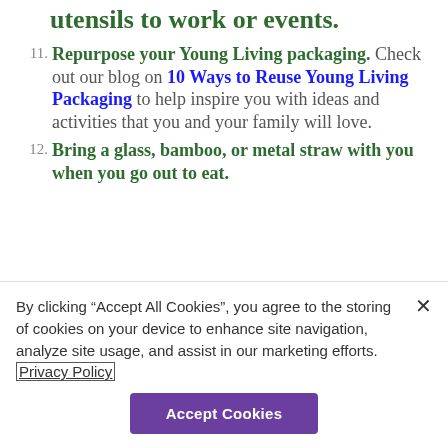utensils to work or events.
11. Repurpose your Young Living packaging. Check out our blog on 10 Ways to Reuse Young Living Packaging to help inspire you with ideas and activities that you and your family will love.
12. Bring a glass, bamboo, or metal straw with you when you go out to eat.
By clicking “Accept All Cookies”, you agree to the storing of cookies on your device to enhance site navigation, analyze site usage, and assist in our marketing efforts. Privacy Policy
Accept Cookies